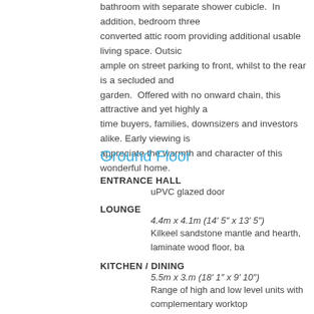bathroom with separate shower cubicle.  In addition, bedroom three converted attic room providing additional usable living space. Outside ample on street parking to front, whilst to the rear is a secluded and garden.  Offered with no onward chain, this attractive and yet highly a time buyers, families, downsizers and investors alike. Early viewing is appreciate the warmth and character of this wonderful home.
Ground Floor
ENTRANCE HALL
    uPVC glazed door
LOUNGE
    4.4m x 4.1m (14' 5" x 13' 5")
    Kilkeel sandstone mantle and hearth, laminate wood floor, ba
KITCHEN / DINING
    5.5m x 3.m (18' 1" x 9' 10")
    Range of high and low level units with complementary workto stainless steel extractor hood, integrated fridge freezer, tiled stair storage
FIRST FLOOR
LANDING